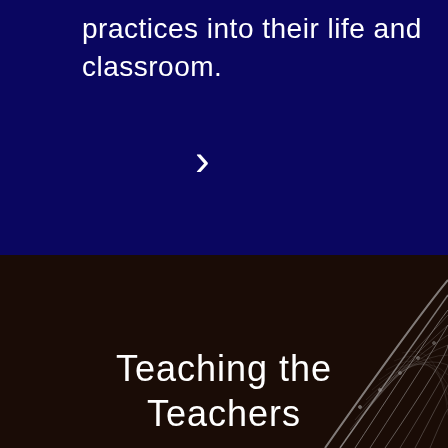practices into their life and classroom.
[Figure (other): White right-pointing chevron/arrow on dark navy background]
[Figure (photo): Dark brown/black background with architectural arch structure visible at right, overlaid with title text 'Teaching the Teachers']
Teaching the Teachers